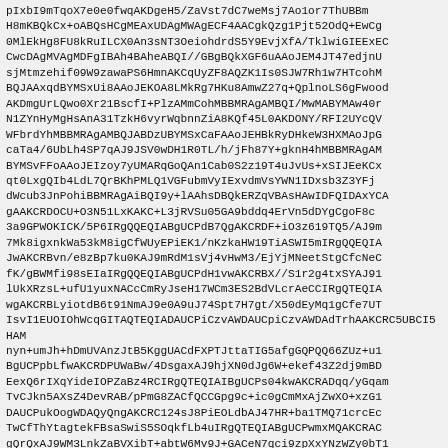pIxbI9mTqoX7e0e0fwqAKDgeH5/ZaVst7dC7weMsj7Ao1or7ThUBBmH8mKBQkCx+oABQsHCgMEAxUDAgMWAgECF4AACgkQzg1Pjt52OdQ+EwCg0MlEkHg8FU8kRuILCX0An3sNT3OeiohdrdS5Y9EvjXfA/TklwiGIEExECwcDAgMVAgMDFgIBAh4BAheABQI//GBgBQkXGF6uAAoJEM4JT47edjnUsjMtmzehif09W9zawaPS6HmnAKCqUyZF8AQZK1Is0SJW7Rh1w7HTcohMBQJAAxqdBYMSxUi8AAoJEKOA8LMkRg7HKu8AmwZ27q+QplnoLS6gFwodAKDmgUrLQwo0Xr21BscfI+PlzAMmCohMBBMRAgAMBQI/MwMABYMAw40rN1ZYnHyMgHsAnA31TzkH6vyrWqbnnZiA8KQf45L0AKDONY/RFI2UYcQVWFbrdYhMBBMRAgAMBQJABDzUBYMSxCaFAAoJEHBkRyDHkeW3HXMAoJpGcaTa4/6UbLh4SP7qAJ9JSV0wDH1R0TL/h/jFh87Y+gknH4hMBBMRAgAMBYMSvFFoAAoJEIzoy7yUMARqGoQAn1Cab0S2z19T4uJvUs+xSIJEeKCxqt0LxgQIb4LdL7QrBKhPMLQ1VGFubmVyIExvdmVsYWN1IDxsb3Z3YFjdWcub3JnPohiBBMRAgAiBQI9y+lAAhsDBQkERZqVBAsHAwIDFQIDAxYCAQIeAQIXgAAKJEKDOCU+O3N5lLxKAKC+L3jRVSu05GA9bddq4ErVn5dDYgCgoF8c3a9GPWOKICK/5P6IRgQQEQIABgUCPdB7QgAKCRDF+iO3z619TQ5/AJ9m7Mk8igxnkWa53kM8igCfWUyEPiEK1/nKzkaHW19TiASWI5mIRgQQEQIAJwAKCRBvn/e8zBp7ku0KAJ9mRdM1sVj4vHwM3/EjYjMNeetStgCfcNeCfK/gBWMfi98sEIaIRgQQEQIABgUCPdH1vwAKCRBX//S1r2g4txSYAJ91lUkXRzsL+ufU1yuxNACcCmRyJseH17WCm3ES2BdVLcrAeCCIRgQTEQIAIwAKCRBLyiotdB6t91NmAJ9e0A9uJ74Spt7H7gt/X50dEyMq1gCfe7UTIsvI1EUOIOhWcqGITAQTEQIADAUCPiCzvAWDAUCpiCzvAWDAdTrhAAKCRC5UBCI5HAMnyn+umJh+hDmUVAnzJtB5KggUACdFXPTJttaTIG5afgGQPQQ66ZUz+u1BgUCPpbLfwAKCRDPUWaBw/4DsgaxAJ9hjXN0dJg6W+ekef43Z2dj9mBDEexQ6rIXqYideIOPZaBz4RCIRgQTEQIAIBgUCPs04kwAKCRADqq/yGqamTvCJkn5AXsZ4DevRAB/pPmG8ZACfQCCGpg9c+ic0gCmMxAjZwXO+xzG1DAUCPukOogWDAQyQngAKCRC124sJ8PiEOLdbAJ47HR+ba1TMQ71crcEcTwCfThYtagtekFBsaSwiS5SOqkfLb4uIRgQTEQIABgUCPwmxMQAKCRACgQrQxAJ9WM3LnkZaBVXibT+abtW6Mv9J+GACeN7qci9zpXxYNzWZy0bT1RgQQEQIABgUCPw42MAAKCRCVBf0+qPBfCGsKAJwIFWsu3dfAGIYWdjmGUwCfbegY0dbY5f42F2r37L1CEF+F6pSITAQTEQIADAUCPwnB4gWDAOvcO7muyrI+lYMatOl05ri0XyrEuwtIfG